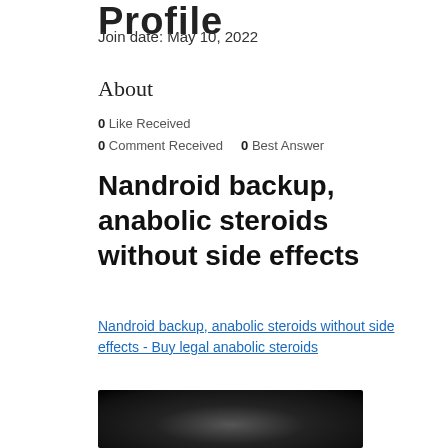Profile
Join date: May 10, 2022
About
0 Like Received
0 Comment Received    0 Best Answer
Nandroid backup, anabolic steroids without side effects
Nandroid backup, anabolic steroids without side effects - Buy legal anabolic steroids
[Figure (photo): Dark blurred photo at bottom of page]